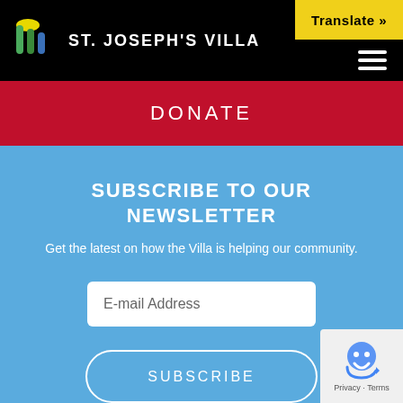[Figure (logo): St. Joseph's Villa logo with colorful arch/building icon and white organization name text on black header bar]
Translate »
DONATE
SUBSCRIBE TO OUR NEWSLETTER
Get the latest on how the Villa is helping our community.
[Figure (screenshot): E-mail Address input field (white rounded rectangle)]
[Figure (screenshot): SUBSCRIBE button (transparent with white border and rounded corners)]
[Figure (logo): reCAPTCHA badge with robot icon and Privacy · Terms text]